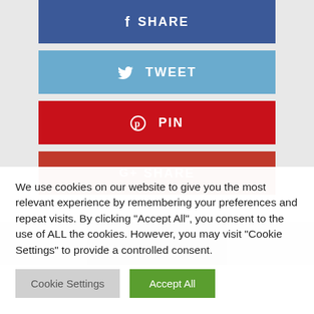[Figure (screenshot): Social media share buttons: Facebook SHARE (dark blue), Twitter TWEET (light blue), Pinterest PIN (red), Google+ SHARE (dark red)]
[Figure (photo): Partial image visible at bottom of social share section]
We use cookies on our website to give you the most relevant experience by remembering your preferences and repeat visits. By clicking “Accept All”, you consent to the use of ALL the cookies. However, you may visit "Cookie Settings" to provide a controlled consent.
Cookie Settings
Accept All